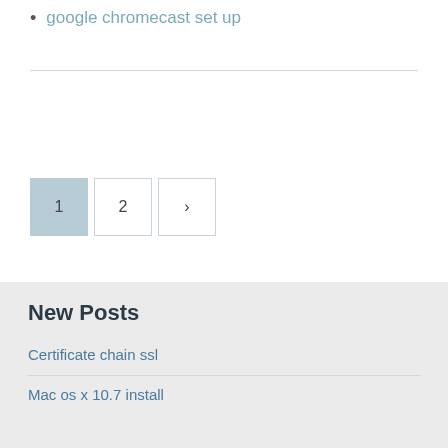google chromecast set up
1 2 >
New Posts
Certificate chain ssl
Mac os x 10.7 install